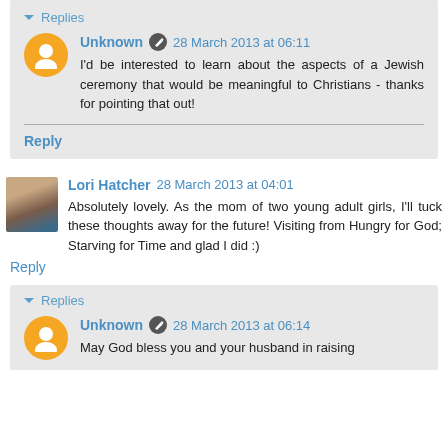Replies
Unknown 28 March 2013 at 06:11
I'd be interested to learn about the aspects of a Jewish ceremony that would be meaningful to Christians - thanks for pointing that out!
Reply
Lori Hatcher 28 March 2013 at 04:01
Absolutely lovely. As the mom of two young adult girls, I'll tuck these thoughts away for the future! Visiting from Hungry for God; Starving for Time and glad I did :)
Reply
Replies
Unknown 28 March 2013 at 06:14
May God bless you and your husband in raising